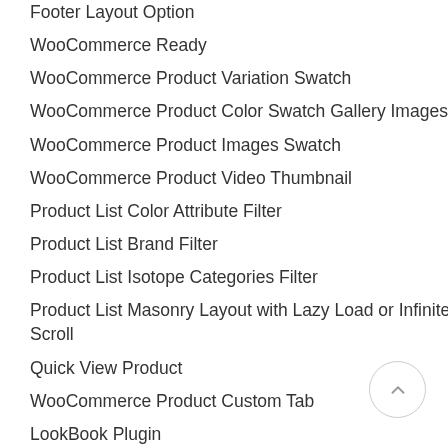Footer Layout Option
WooCommerce Ready
WooCommerce Product Variation Swatch
WooCommerce Product Color Swatch Gallery Images
WooCommerce Product Images Swatch
WooCommerce Product Video Thumbnail
Product List Color Attribute Filter
Product List Brand Filter
Product List Isotope Categories Filter
Product List Masonry Layout with Lazy Load or Infinite Scroll
Quick View Product
WooCommerce Product Custom Tab
LookBook Plugin
Ajax Add to Cart
Sticky Add to Cart
Product's Badge (New, Sale, Sold Out)
WooCommerce Newsletter Popup integrate with MailChimp